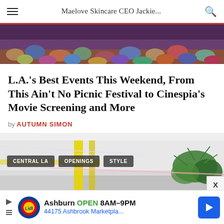Maelove Skincare CEO Jackie...
[Figure (photo): Aerial view of a crowd of people at an outdoor festival, colorful scene from above]
L.A.'s Best Events This Weekend, From This Ain't No Picnic Festival to Cinespia's Movie Screening and More
by AUTUMN SIMON
[Figure (photo): Interior of a modern art gallery or store with yellow structural elements, fluorescent lighting, and hanging plants. Tags: CENTRAL LA, OPENINGS, STYLE]
Ashburn OPEN 8AM–9PM 44175 Ashbrook Marketpla...